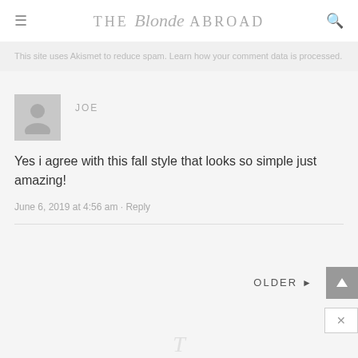THE Blonde ABROAD
This site uses Akismet to reduce spam. Learn how your comment data is processed.
JOE
Yes i agree with this fall style that looks so simple just amazing!
June 6, 2019 at 4:56 am · Reply
OLDER ▶